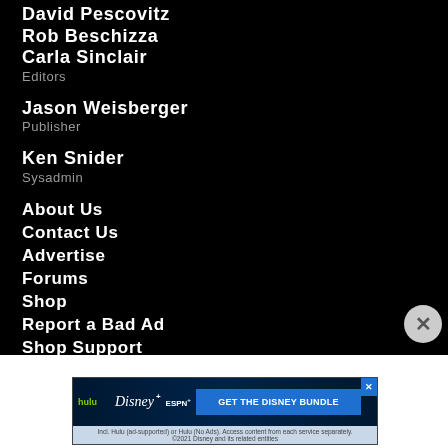David Pescovitz
Rob Beschizza
Carla Sinclair
Editors
Jason Weisberger
Publisher
Ken Snider
Sysadmin
About Us
Contact Us
Advertise
Forums
Shop
Report a Bad Ad
Shop Support
Report an ad
[Figure (screenshot): Disney Bundle advertisement banner showing Hulu, Disney+, and ESPN+ logos with 'GET THE DISNEY BUNDLE' call-to-action button and fine print text]